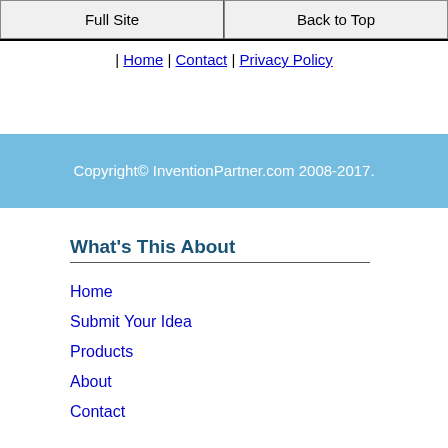Full Site | Back to Top
| Home | Contact | Privacy Policy
Copyright© InventionPartner.com 2008-2017.
What's This About
Home
Submit Your Idea
Products
About
Contact